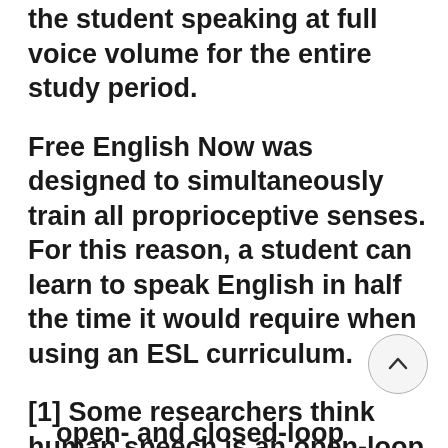the student speaking at full voice volume for the entire study period.
Free English Now was designed to simultaneously train all proprioceptive senses. For this reason, a student can learn to speak English in half the time it would require when using an ESL curriculum.
[1] Some researchers think human speech is an open-loop system. However, it has been shown that the human brain does many things using both open- and closed-loop control